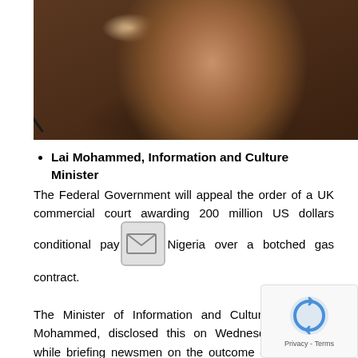[Figure (photo): Photo of Lai Mohammed, Information and Culture Minister, speaking at a microphone]
Lai Mohammed, Information and Culture Minister
The Federal Government will appeal the order of a UK commercial court awarding 200 million US dollars conditional payment for granting stay of execution in a judgment debt against Nigeria over a botched gas contract.
The Minister of Information and Culture, Alhaji Lai Mohammed, disclosed this on Wednesday in Abuja while briefing newsmen on the outcome of the federal government delegation's trip to London and the Sept. 26 ruling of the court.